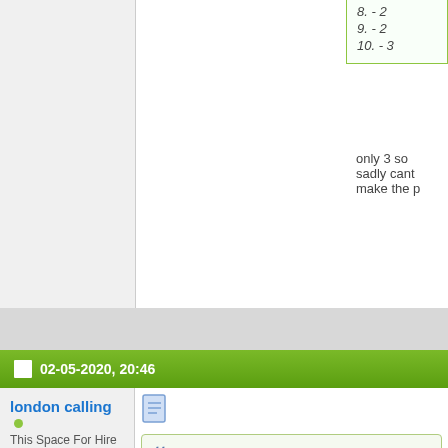8. - 2
9. - 2
10. - 3
only 3 so sadly cant make the p
02-05-2020, 20:46
london calling
This Space For Hire
Join Date: Sep 2012
Location: Brentford
Posts: 2,709
[Figure (illustration): Document/page icon in blue]
Originally Posted by W
Simply guesswork:
1-3
2-1
3-2
4-1
5-2
6-3
7-3
8-1
9-2
10-3